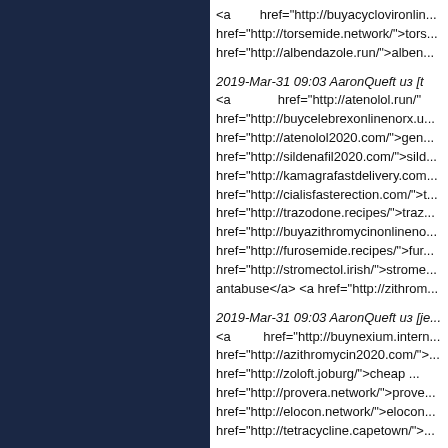<a href="http://buyacyclovironlin... href="http://torsemide.network/">tors... href="http://albendazole.run/">alben...
2019-Mar-31 09:03 Michaelwex из [t... <a href="http://atenolol.run/"... href="http://buycelebrexonlinenorx.u... href="http://atenolol2020.com/">gen... href="http://sildenafil2020.com/">sild... href="http://kamagrafastdelivery.com... href="http://cialisfasterection.com/">... href="http://trazodone.recipes/">traz... href="http://buyazithromycinonlineno... href="http://furosemide.recipes/">fur... href="http://stromectol.irish/">strome... antabuse</a> <a href="http://zithrom...
2019-Mar-31 09:03 AaronQueft из [je... <a href="http://buynexium.intern... href="http://azithromycin2020.com/">... href="http://zoloft.joburg/">cheap ... href="http://provera.network/">prove... href="http://elocon.network/">elocon... href="http://tetracycline.capetown/">...